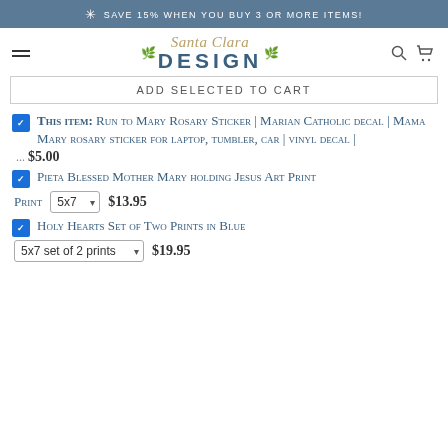✳ SAVE 15% WHEN YOU BUY 3 OR MORE ITEMS!
[Figure (logo): Santa Clara Design logo with script text and wheat/laurel leaves]
ADD SELECTED TO CART
This item: Run to Mary Rosary Sticker | Marian Catholic decal | Mama Mary rosary sticker for laptop, tumbler, car | vinyl decal | ... $5.00
Pieta Blessed Mother Mary holding Jesus Art Print 5x7 $13.95
Holy Hearts Set of Two Prints in Blue 5x7 set of 2 prints $19.95